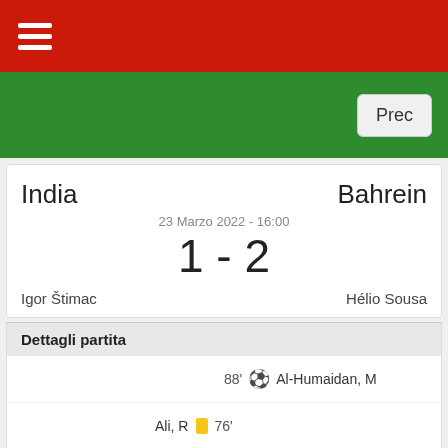☰ (hamburger menu)
Prec
India — Bahrein | 23 Marzo 2022 - 16:00 | 1 - 2 | Igor Štimac / Hélio Sousa
Dettagli partita
88' ⚽ Al-Humaidan, M
Ali, R 🟨 76'
Bheke, R ⚽ 59'
37' ⚽ Al Hardan, M